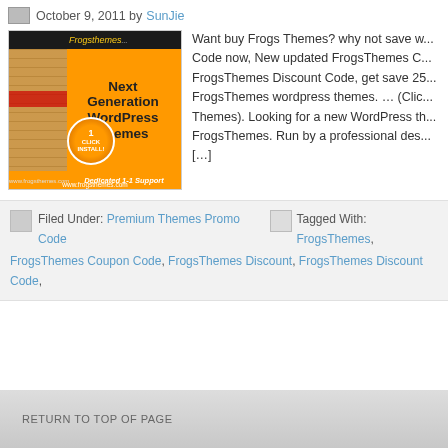October 9, 2011 by SunJie
[Figure (illustration): FrogsThemes advertisement banner: Next Generation WordPress Themes with 1-Click Install and Dedicated 1-1 Support, orange background, www.frogsthemes.com]
Want buy Frogs Themes? why not save w... Code now, New updated FrogsThemes C... FrogsThemes Discount Code, get save 25... FrogsThemes wordpress themes. … (Cli... Themes). Looking for a new WordPress th... FrogsThemes. Run by a professional des... [...]
Filed Under: Premium Themes Promo Code   Tagged With: FrogsThemes, FrogsThemes Coupon Code, FrogsThemes Discount, FrogsThemes Discount Code,
RETURN TO TOP OF PAGE